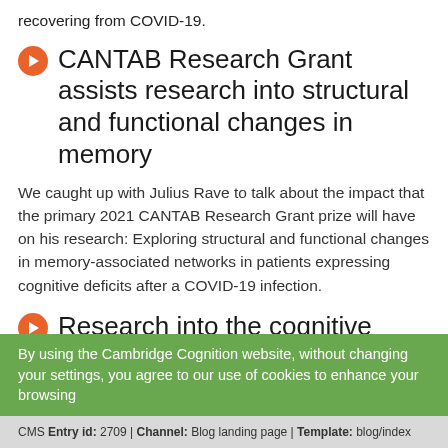recovering from COVID-19.
CANTAB Research Grant assists research into structural and functional changes in memory
We caught up with Julius Rave to talk about the impact that the primary 2021 CANTAB Research Grant prize will have on his research: Exploring structural and functional changes in memory-associated networks in patients expressing cognitive deficits after a COVID-19 infection.
Research into the cognitive
By using the Cambridge Cognition website, without changing your settings, you agree to our use of cookies to enhance your browsing
CMS Entry id: 2709 | Channel: Blog landing page | Template: blog/index